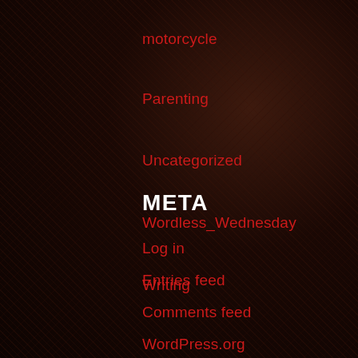motorcycle
Parenting
Uncategorized
Wordless_Wednesday
Writing
META
Log in
Entries feed
Comments feed
WordPress.org